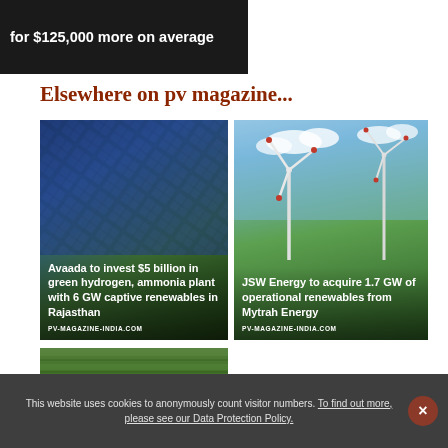[Figure (photo): Dark banner with white text reading 'for $125,000 more on average']
Elsewhere on pv magazine...
[Figure (photo): Solar panels aerial view with overlay text: Avaada to invest $5 billion in green hydrogen, ammonia plant with 6 GW captive renewables in Rajasthan. Source: PV-MAGAZINE-INDIA.COM]
[Figure (photo): Wind turbines against cloudy sky with overlay text: JSW Energy to acquire 1.7 GW of operational renewables from Mytrah Energy. Source: PV-MAGAZINE-INDIA.COM]
[Figure (photo): Aerial view of large solar farm]
This website uses cookies to anonymously count visitor numbers. To find out more, please see our Data Protection Policy.